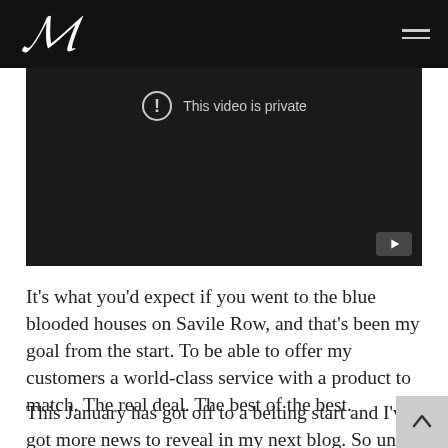M [logo] [hamburger menu]
[Figure (screenshot): A video player showing a private video error. A circle with exclamation mark icon and text 'This video is private' on a dark background. YouTube button visible in bottom right corner.]
It’s what you’d expect if you went to the blue blooded houses on Savile Row, and that’s been my goal from the start. To be able to offer my customers a world-class service with a product to match. The real deal. The best of the best.
This January has got off to a belting start and I’ve got more news to reveal in my next blog. So until then it’s